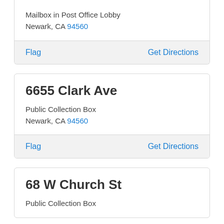Mailbox in Post Office Lobby
Newark, CA 94560
Flag    Get Directions
6655 Clark Ave
Public Collection Box
Newark, CA 94560
Flag    Get Directions
68 W Church St
Public Collection Box